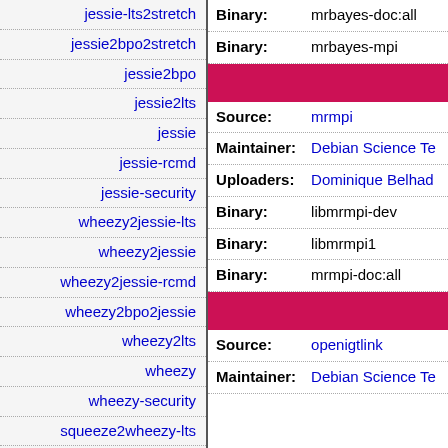jessie-lts2stretch
jessie2bpo2stretch
jessie2bpo
jessie2lts
jessie
jessie-rcmd
jessie-security
wheezy2jessie-lts
wheezy2jessie
wheezy2jessie-rcmd
wheezy2bpo2jessie
wheezy2lts
wheezy
wheezy-security
squeeze2wheezy-lts
squeeze2wheezy
squeeze2bpo-sloppy
squeeze2bpo2wheezy
| Field | Value |
| --- | --- |
| Binary: | mrbayes-doc:all |
| Binary: | mrbayes-mpi |
| Source: | mrmpi |
| Maintainer: | Debian Science Te |
| Uploaders: | Dominique Belhad |
| Binary: | libmrmpi-dev |
| Binary: | libmrmpi1 |
| Binary: | mrmpi-doc:all |
| Source: | openigtlink |
| Maintainer: | Debian Science Te |